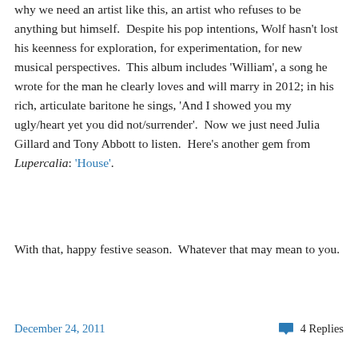why we need an artist like this, an artist who refuses to be anything but himself.  Despite his pop intentions, Wolf hasn't lost his keenness for exploration, for experimentation, for new musical perspectives.  This album includes 'William', a song he wrote for the man he clearly loves and will marry in 2012; in his rich, articulate baritone he sings, 'And I showed you my ugly/heart yet you did not/surrender'.  Now we just need Julia Gillard and Tony Abbott to listen.  Here's another gem from Lupercalia: 'House'.
With that, happy festive season.  Whatever that may mean to you.
December 24, 2011   4 Replies